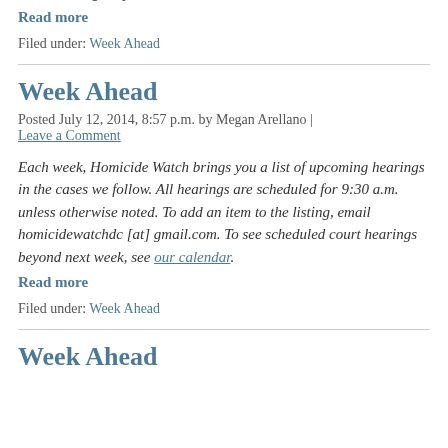court hearings beyond next week, see our calendar.
Read more
Filed under: Week Ahead
Week Ahead
Posted July 12, 2014, 8:57 p.m. by Megan Arellano | Leave a Comment
Each week, Homicide Watch brings you a list of upcoming hearings in the cases we follow. All hearings are scheduled for 9:30 a.m. unless otherwise noted. To add an item to the listing, email homicidewatchdc [at] gmail.com. To see scheduled court hearings beyond next week, see our calendar.
Read more
Filed under: Week Ahead
Week Ahead